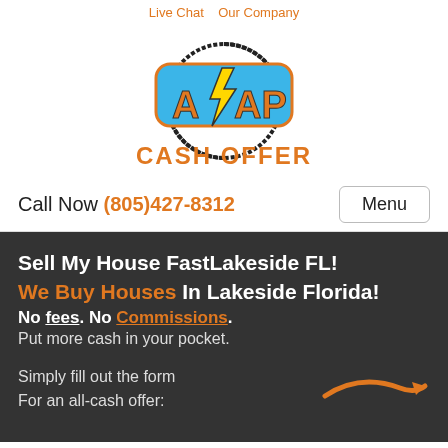Live Chat   Our Company
[Figure (logo): ASAP Cash Offer logo with lightning bolt in blue rounded rectangle, circular arrows around it, and orange bold text 'CASH OFFER' below]
Call Now (805)427-8312
Sell My House FastLakeside FL!
We Buy Houses In Lakeside Florida!
No fees. No Commissions. Put more cash in your pocket.
Simply fill out the form For an all-cash offer: